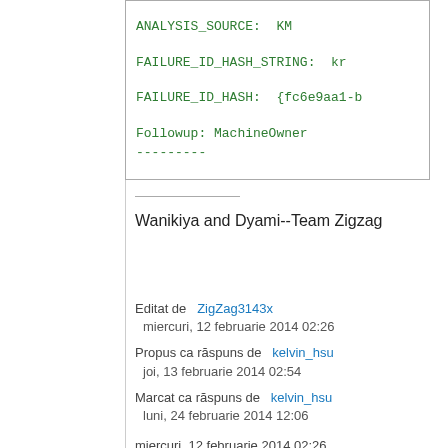ANALYSIS_SOURCE:  KM

FAILURE_ID_HASH_STRING:  kr

FAILURE_ID_HASH:  {fc6e9aa1-b

Followup: MachineOwner
---------
Wanikiya and Dyami--Team Zigzag
Editat de   ZigZag3143x
  miercuri, 12 februarie 2014 02:26

Propus ca răspuns de   kelvin_hsu
  joi, 13 februarie 2014 02:54

Marcat ca răspuns de   kelvin_hsu
  luni, 24 februarie 2014 12:06

miercuri, 12 februarie 2014 02:26